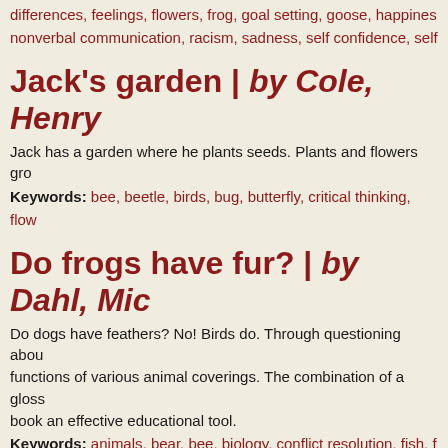differences, feelings, flowers, frog, goal setting, goose, happiness, nonverbal communication, racism, sadness, self confidence, self
Jack's garden | by Cole, Henry
Jack has a garden where he plants seeds. Plants and flowers gro
Keywords: bee, beetle, birds, bug, butterfly, critical thinking, flow
Do frogs have fur? | by Dahl, Mic
Do dogs have feathers? No! Birds do. Through questioning about functions of various animal coverings. The combination of a gloss book an effective educational tool.
Keywords: animals, bear, bee, biology, conflict resolution, fish, f turtle, verbal communication
The grouchy ladybug | by Carle,
A grouch ladybug and a friendly ladybug fly to a leaf with aphids. decide to fight, but the grouchy ladybug goes on to look for even